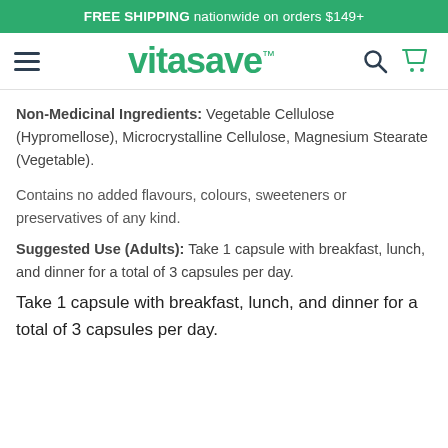FREE SHIPPING nationwide on orders $149+
[Figure (logo): Vitasave logo with hamburger menu, search icon and cart icon]
Non-Medicinal Ingredients: Vegetable Cellulose (Hypromellose), Microcrystalline Cellulose, Magnesium Stearate (Vegetable).
Contains no added flavours, colours, sweeteners or preservatives of any kind.
Suggested Use (Adults): Take 1 capsule with breakfast, lunch, and dinner for a total of 3 capsules per day.
Take 1 capsule with breakfast, lunch, and dinner for a total of 3 capsules per day.